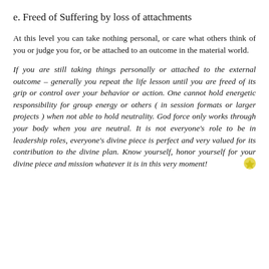e. Freed of Suffering by loss of attachments
At this level you can take nothing personal, or care what others think of you or judge you for, or be attached to an outcome in the material world.
If you are still taking things personally or attached to the external outcome – generally you repeat the life lesson until you are freed of its grip or control over your behavior or action. One cannot hold energetic responsibility for group energy or others ( in session formats or larger projects ) when not able to hold neutrality. God force only works through your body when you are neutral. It is not everyone's role to be in leadership roles, everyone's divine piece is perfect and very valued for its contribution to the divine plan. Know yourself, honor yourself for your divine piece and mission whatever it is in this very moment!